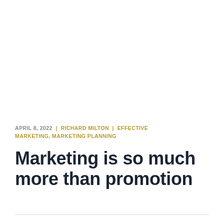APRIL 8, 2022 | RICHARD MILTON | EFFECTIVE MARKETING, MARKETING PLANNING
Marketing is so much more than promotion